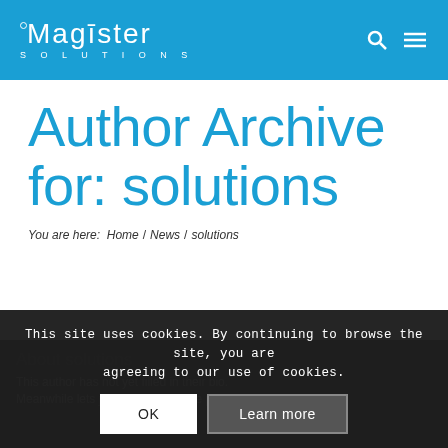[Figure (logo): Magister Solutions logo in white text on blue background with search and menu icons]
Author Archive for: solutions
You are here:  Home / News / solutions
About solutions
This author has not yet filled in their bio. Meanwhile lets just say that we are proud
This site uses cookies. By continuing to browse the site, you are agreeing to our use of cookies.